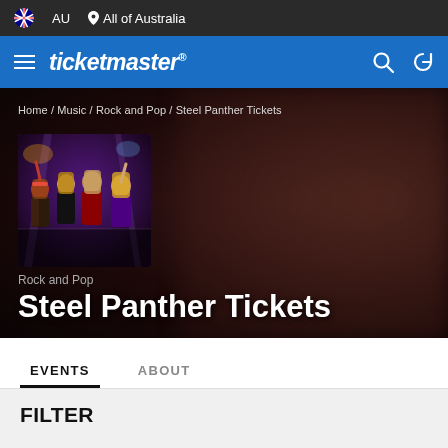AU   All of Australia
ticketmaster®
Home / Music / Rock and Pop / Steel Panther Tickets
[Figure (photo): Steel Panther band photo - four band members in rock/glam metal attire against a purple stage-lit background]
Rock and Pop
Steel Panther Tickets
EVENTS   ABOUT
FILTER